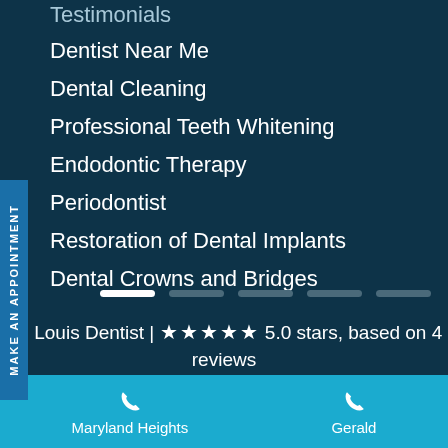Testimonials
Dentist Near Me
Dental Cleaning
Professional Teeth Whitening
Endodontic Therapy
Periodontist
Restoration of Dental Implants
Dental Crowns and Bridges
St. Louis Dentist | ★★★★★ 5.0 stars, based on 4 reviews
Maryland Heights
Gerald